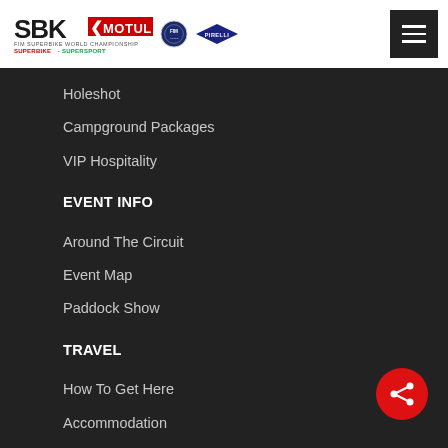[Figure (logo): SBK Motul FIM Superbike World Championship logo with FIM and Pirelli partner logos]
Holeshot
Campground Packages
VIP Hospitality
EVENT INFO
Around The Circuit
Event Map
Paddock Show
TRAVEL
How To Get Here
Accommodation
FAN HUB
Latest News
Gallery